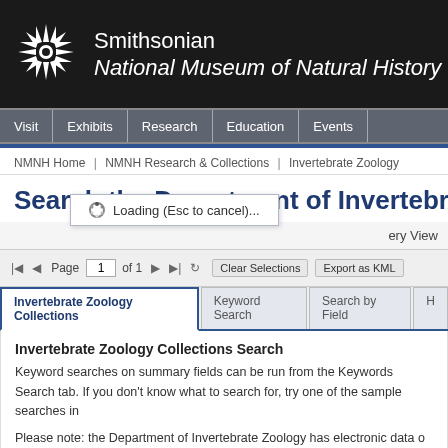[Figure (logo): Smithsonian sunburst logo (white starburst on black background)]
Smithsonian
National Museum of Natural History
Visit | Exhibits | Research | Education | Events
NMNH Home | NMNH Research & Collections | Invertebrate Zoology
Search the Department of Invertebrate
Loading (Esc to cancel)...
ery View
Page 1 of 1   Clear Selections   Export as KML
Invertebrate Zoology Collections | Keyword Search | Search by Field | H
Invertebrate Zoology Collections Search
Keyword searches on summary fields can be run from the Keywords Search tab. If you don't know what to search for, try one of the sample searches in
Please note: the Department of Invertebrate Zoology has electronic data o add new data and correct records. If you see an error please use Feedbac